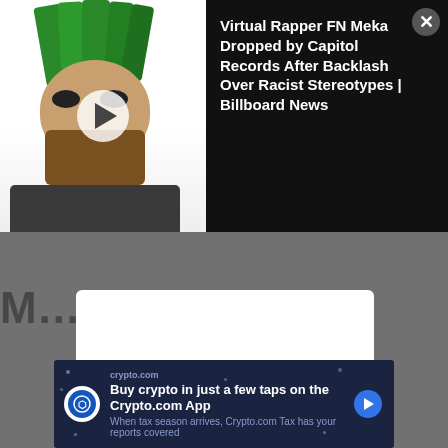[Figure (screenshot): Black news bar at top with thumbnail image of FN Meka (virtual rapper with green hair and mask) on the left, and headline text on the right with a close button]
Virtual Rapper FN Meka Dropped by Capitol Records After Backlash Over Racist Stereotypes | Billboard News
[Figure (screenshot): Apple Music player widget showing Play "When You Tell..." on Apple Music with play button, progress bar, and volume button]
Play "When You Tell..." on Apple Music
Heyo! S... RIFF-it.
I want to call the stars
[Figure (screenshot): Crypto.com advertisement banner: Buy crypto in just a few taps on the Crypto.com App. When tax season arrives, Crypto.com Tax has your reports covered]